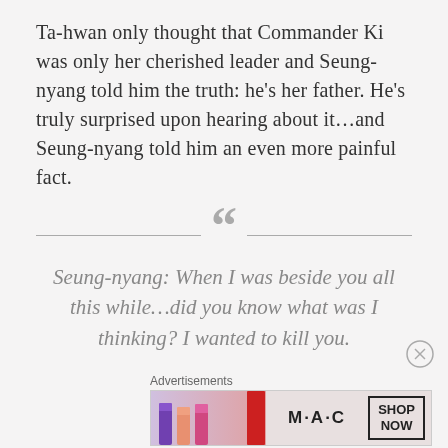Ta-hwan only thought that Commander Ki was only her cherished leader and Seung-nyang told him the truth: he's her father. He's truly surprised upon hearing about it...and Seung-nyang told him an even more painful fact.
Seung-nyang: When I was beside you all this while...did you know what was I thinking? I wanted to kill you.
Advertisements
[Figure (other): MAC cosmetics advertisement banner showing lipsticks in purple, peach, pink and red colors with MAC logo and SHOP NOW button]